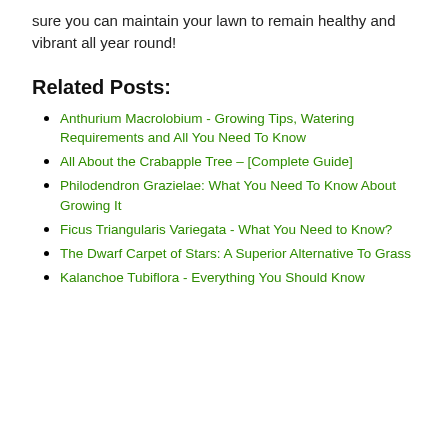sure you can maintain your lawn to remain healthy and vibrant all year round!
Related Posts:
Anthurium Macrolobium - Growing Tips, Watering Requirements and All You Need To Know
All About the Crabapple Tree – [Complete Guide]
Philodendron Grazielae: What You Need To Know About Growing It
Ficus Triangularis Variegata - What You Need to Know?
The Dwarf Carpet of Stars: A Superior Alternative To Grass
Kalanchoe Tubiflora - Everything You Should Know